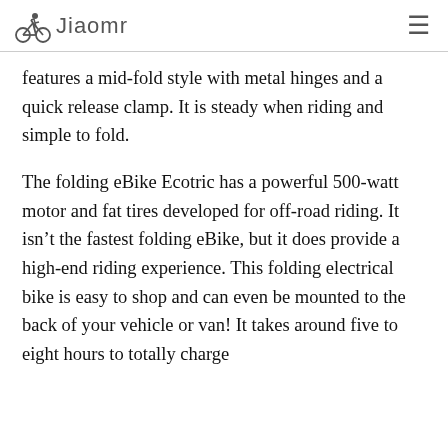Jiaomr
features a mid-fold style with metal hinges and a quick release clamp. It is steady when riding and simple to fold.
The folding eBike Ecotric has a powerful 500-watt motor and fat tires developed for off-road riding. It isn't the fastest folding eBike, but it does provide a high-end riding experience. This folding electrical bike is easy to shop and can even be mounted to the back of your vehicle or van! It takes around five to eight hours to totally charge